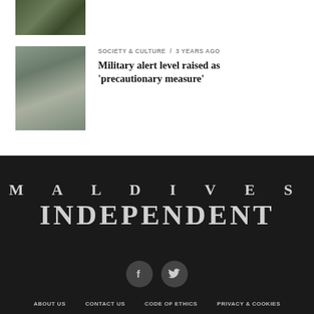[Figure (photo): Small thumbnail image of foliage/outdoor scene at top left]
[Figure (photo): Image of military soldiers in fatigues walking outdoors]
SOCIETY & CULTURE / 3 years ago
Military alert level raised as 'precautionary measure'
[Figure (logo): Maldives Independent logo in white/grey serif text on dark background]
[Figure (infographic): Facebook and Twitter social media icon buttons]
ABOUT US   CONTACT US   CODE OF ETHICS   PRIVACY & COOKIES